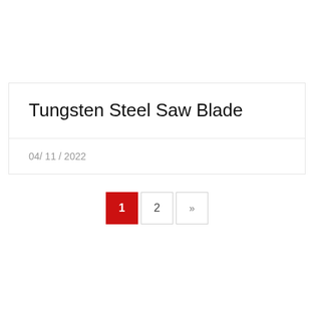Tungsten Steel Saw Blade
04/ 11 / 2022
1
2
»